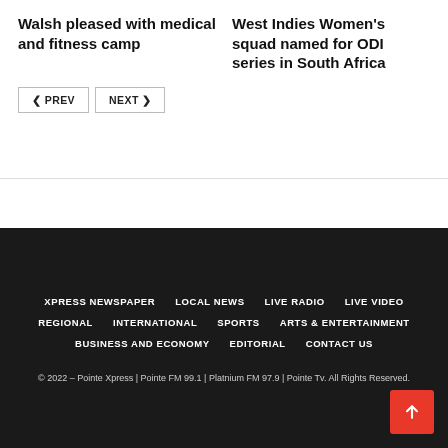Walsh pleased with medical and fitness camp
West Indies Women's squad named for ODI series in South Africa
PREV
NEXT
XPRESS NEWSPAPER  LOCAL NEWS  LIVE RADIO  LIVE VIDEO  REGIONAL  INTERNATIONAL  SPORTS  ARTS & ENTERTAINMENT  BUSINESS AND ECONOMY  EDITORIAL  CONTACT US
© 2022 – Pointe Xpress | Pointe FM 99.1 | Platnium FM 97.9 | Pointe Tv. All Rights Reserved.